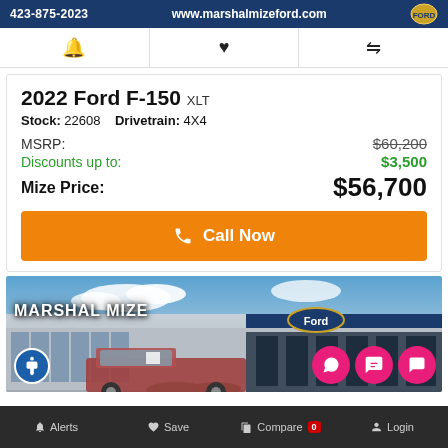423-875-2023   www.marshalmizeford.com
Bell icon | Heart icon | Compare icon
2022 Ford F-150 XLT
Stock: 22608   Drivetrain: 4X4
MSRP: $60,200
Discounts up to: $3,500
Mize Price: $56,700
Call Now
[Figure (photo): Exterior photo of Marshal Mize Ford dealership building with a red Ford F-150 truck in the foreground. Blue sky with clouds visible. Ford oval logo on building. Accessibility button and pink action buttons overlay.]
Alerts   Save   Compare 0   Login